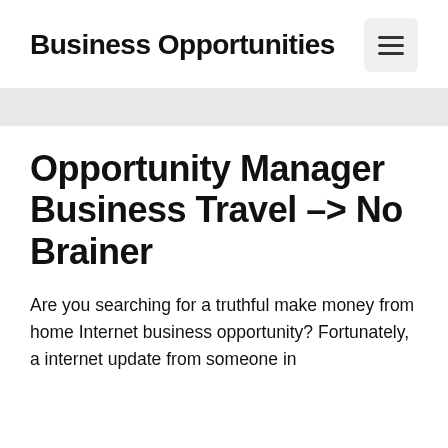Business Opportunities
Opportunity Manager Business Travel -> No Brainer
Are you searching for a truthful make money from home Internet business opportunity? Fortunately, a internet update from someone in